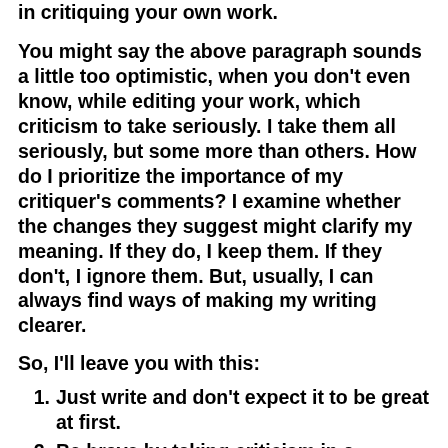in critiquing your own work.
You might say the above paragraph sounds a little too optimistic, when you don’t even know, while editing your work, which criticism to take seriously. I take them all seriously, but some more than others. How do I prioritize the importance of my critiquer’s comments? I examine whether the changes they suggest might clarify my meaning. If they do, I keep them. If they don’t, I ignore them. But, usually, I can always find ways of making my writing clearer.
So, I’ll leave you with this:
Just write and don’t expect it to be great at first.
Be brave by taking criticism in a positive light, both yours and other’s.
Learn by doing. You will learn from yourself and